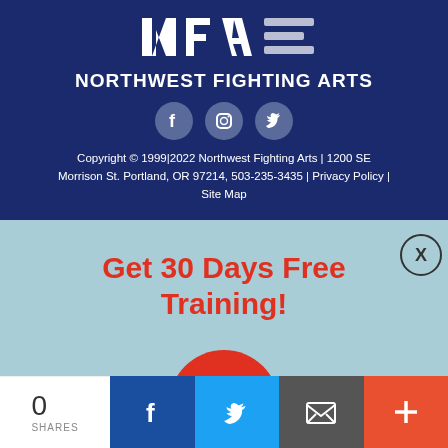[Figure (logo): Northwest Fighting Arts logo - stylized NFA letters in white on dark blue background with text NORTHWEST FIGHTING ARTS below]
[Figure (infographic): Three social media icons: Facebook, Instagram, Twitter - grey circles on dark blue background]
Copyright © 1999|2022 Northwest Fighting Arts | 1200 SE Morrison St. Portland, OR 97214, 503-235-3435 | Privacy Policy | Site Map
Get 30 Days Free Training!
[Figure (infographic): Red circular YES! button]
[Figure (infographic): X close button circle in top right of promo overlay]
0 SHARES
[Figure (infographic): Bottom share bar with Facebook, Twitter, email, and plus icons]